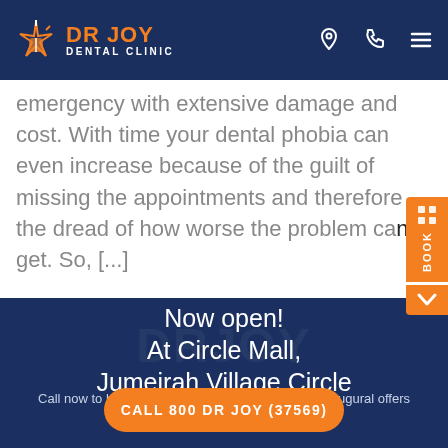DR JOY DENTAL CLINIC
emergency with extensive damage and cost. With time your dental phobia can even increase because of the guilt of missing the appointments and therefore the dread of how worse the problem can get. So, [...]
Now open!
At Circle Mall,
Jumeirah Village Circle
Call now to book your appointment and avail our Inaugural offers for a Limited time only !
CALL 800 DR JOY (37569)